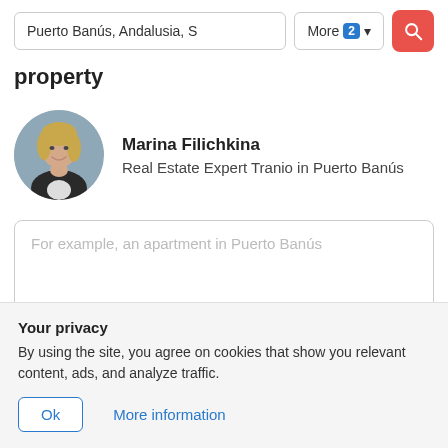[Figure (screenshot): Search bar with input field showing 'Puerto Banús, Andalusia, S', a 'More 2' filter button, and a red search button with magnifying glass icon]
property
Marina Filichkina
Real Estate Expert Tranio in Puerto Banús
[Figure (photo): Circular portrait photo of Marina Filichkina, a woman with blonde hair wearing a dark blazer]
For example, an apartment in Puerto Banús
Your privacy
By using the site, you agree on cookies that show you relevant content, ads, and analyze traffic.
Ok   More information